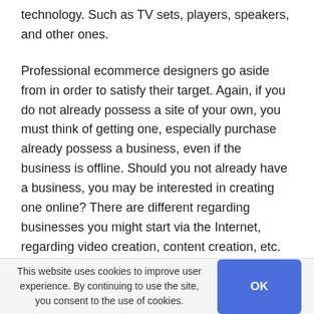technology. Such as TV sets, players, speakers, and other ones.
Professional ecommerce designers go aside from in order to satisfy their target. Again, if you do not already possess a site of your own, you must think of getting one, especially purchase already possess a business, even if the business is offline. Should you not already have a business, you may be interested in creating one online? There are different regarding businesses you might start via the Internet, regarding video creation, content creation, etc. Also, take note that once the web site is made, you can monetize it by using AdSense
This website uses cookies to improve user experience. By continuing to use the site, you consent to the use of cookies.